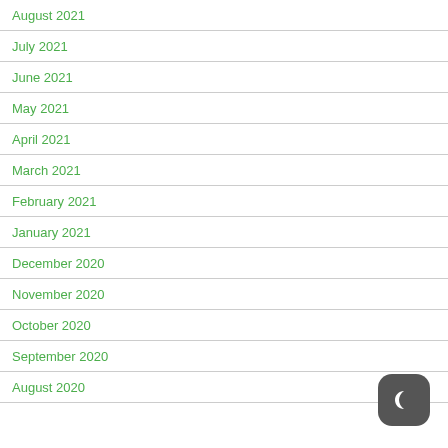August 2021
July 2021
June 2021
May 2021
April 2021
March 2021
February 2021
January 2021
December 2020
November 2020
October 2020
September 2020
August 2020
[Figure (illustration): Dark mode toggle button icon — a crescent moon symbol on a dark rounded square background]